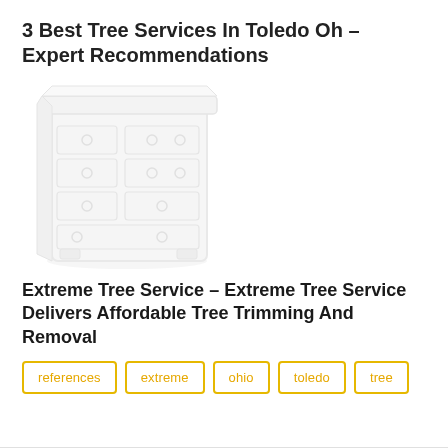3 Best Tree Services In Toledo Oh – Expert Recommendations
[Figure (illustration): A white dresser/chest of drawers illustration, lightly rendered in pale tones.]
Extreme Tree Service – Extreme Tree Service Delivers Affordable Tree Trimming And Removal
references
extreme
ohio
toledo
tree